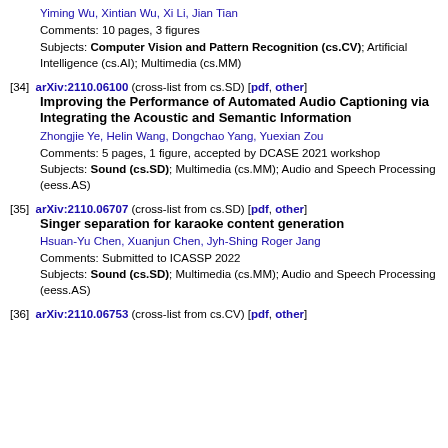Yiming Wu, Xintian Wu, Xi Li, Jian Tian
Comments: 10 pages, 3 figures
Subjects: Computer Vision and Pattern Recognition (cs.CV); Artificial Intelligence (cs.AI); Multimedia (cs.MM)
[34] arXiv:2110.06100 (cross-list from cs.SD) [pdf, other]
Improving the Performance of Automated Audio Captioning via Integrating the Acoustic and Semantic Information
Zhongjie Ye, Helin Wang, Dongchao Yang, Yuexian Zou
Comments: 5 pages, 1 figure, accepted by DCASE 2021 workshop
Subjects: Sound (cs.SD); Multimedia (cs.MM); Audio and Speech Processing (eess.AS)
[35] arXiv:2110.06707 (cross-list from cs.SD) [pdf, other]
Singer separation for karaoke content generation
Hsuan-Yu Chen, Xuanjun Chen, Jyh-Shing Roger Jang
Comments: Submitted to ICASSP 2022
Subjects: Sound (cs.SD); Multimedia (cs.MM); Audio and Speech Processing (eess.AS)
[36] arXiv:2110.06753 (cross-list from cs.CV) [pdf, other]